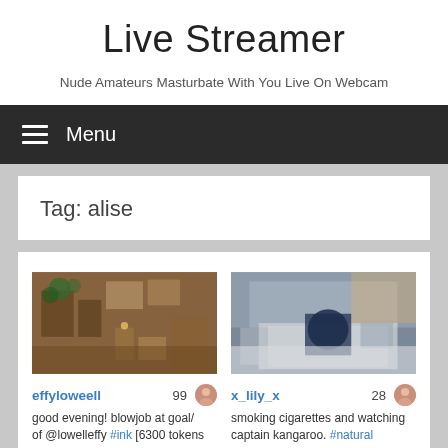Live Streamer
Nude Amateurs Masturbate With You Live On Webcam
Menu
Tag: alise
[Figure (photo): Webcam thumbnail showing a warmly lit room with plants, artwork on walls, candles and a wooden dresser. Username: effyloweell, count: 99]
effyloweell 99
good evening! blowjob at goal/ of @lowelleffy #ink [6300 tokens
[Figure (photo): Webcam thumbnail showing a bedroom with blue pillows on a light-colored sofa/bed with ambient warm lighting. Username: x_lily_x, count: 28]
x_lily_x 28
smoking cigarettes and watching captain kangaroo. #natural